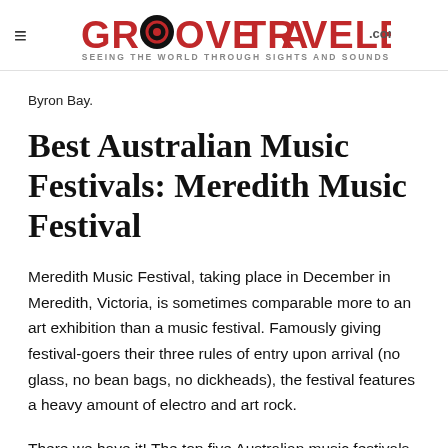GROOVETRAVELER.com — SEEING THE WORLD THROUGH SIGHTS AND SOUNDS
Byron Bay.
Best Australian Music Festivals: Meredith Music Festival
Meredith Music Festival, taking place in December in Meredith, Victoria, is sometimes comparable more to an art exhibition than a music festival. Famously giving festival-goers their three rules of entry upon arrival (no glass, no bean bags, no dickheads), the festival features a heavy amount of electro and art rock.
There we have it! The top five Australian music festivals according to us here at Groovetraveler. But don't take our